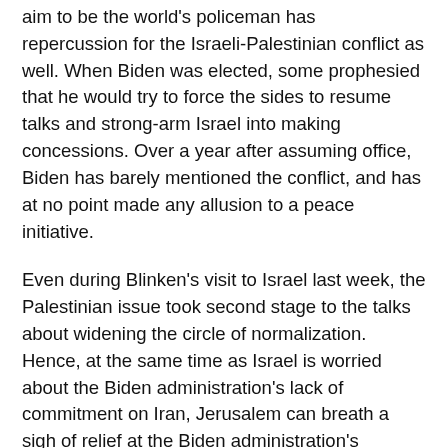aim to be the world's policeman has repercussion for the Israeli-Palestinian conflict as well. When Biden was elected, some prophesied that he would try to force the sides to resume talks and strong-arm Israel into making concessions. Over a year after assuming office, Biden has barely mentioned the conflict, and has at no point made any allusion to a peace initiative.
Even during Blinken's visit to Israel last week, the Palestinian issue took second stage to the talks about widening the circle of normalization. Hence, at the same time as Israel is worried about the Biden administration's lack of commitment on Iran, Jerusalem can breath a sigh of relief at the Biden administration's reluctance to take up the Palestinian issue, as the Bennett-Lapid government has opted to shelve the peace process in order to survive.